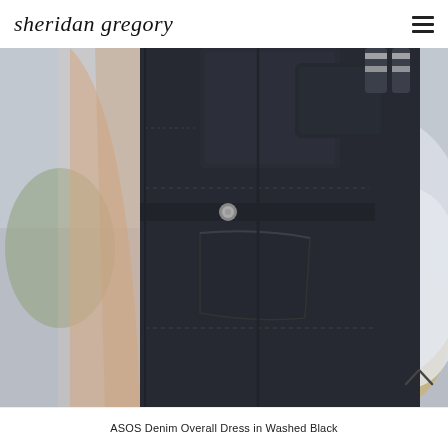sheridan gregory
[Figure (photo): Close-up photo of a person wearing dark black denim overalls with a bib pocket, snap buttons, and a side hip pocket. Shot outdoors with a blurred street background.]
ASOS Denim Overall Dress in Washed Black